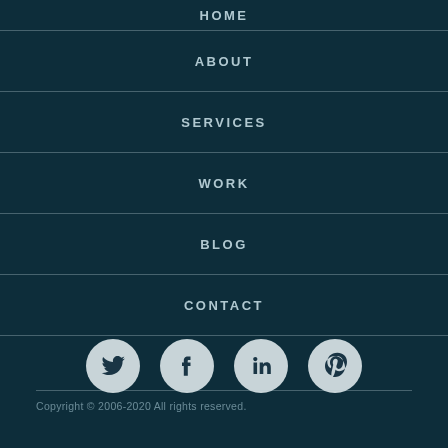HOME
ABOUT
SERVICES
WORK
BLOG
CONTACT
[Figure (illustration): Four social media icons in circular grey buttons: Twitter, Facebook, LinkedIn, Pinterest]
Copyright © 2006-2020 All rights reserved.